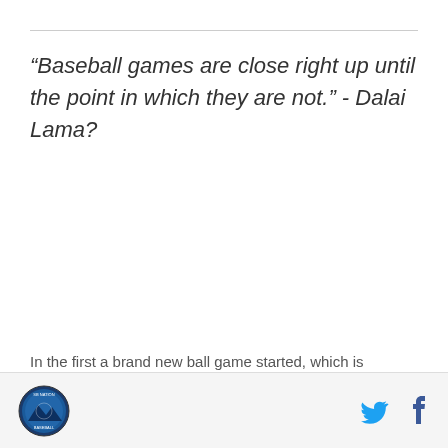“Baseball games are close right up until the point in which they are not.” - Dalai Lama?
In the first a brand new ball game started, which is
[Figure (logo): Circular sports team logo with dark blue border and baseball scene]